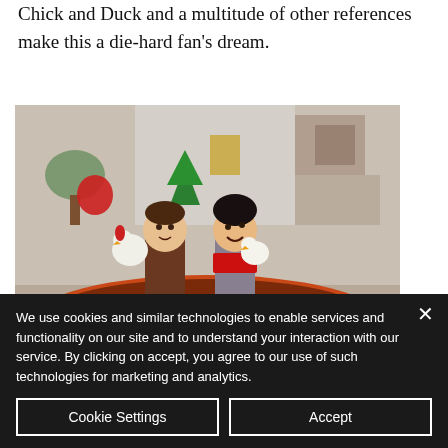Chick and Duck and a multitude of other references make this a die-hard fan's dream.
[Figure (photo): LEGO minifigures of two Friends characters (Chandler and Joey) sitting in a canoe/kayak, holding small animal figures (Chick and Duck). Background shows a blurred LEGO apartment scene. Watermark: BrickBanter.com]
We use cookies and similar technologies to enable services and functionality on our site and to understand your interaction with our service. By clicking on accept, you agree to our use of such technologies for marketing and analytics.
Cookie Settings
Accept